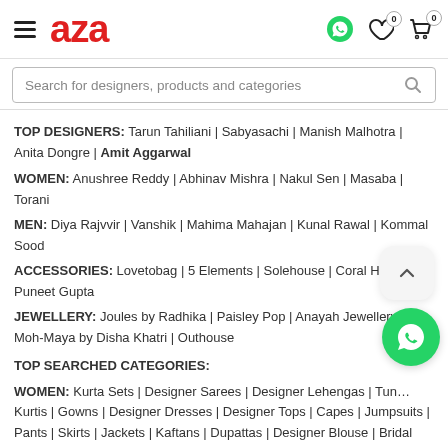aza — navigation header with hamburger menu, logo, whatsapp, wishlist (0), cart (0)
Search for designers, products and categories
TOP DESIGNERS: Tarun Tahiliani | Sabyasachi | Manish Malhotra | Anita Dongre | Amit Aggarwal
WOMEN: Anushree Reddy | Abhinav Mishra | Nakul Sen | Masaba | Torani
MEN: Diya Rajvvir | Vanshik | Mahima Mahajan | Kunal Rawal | Kommal Sood
ACCESSORIES: Lovetobag | 5 Elements | Solehouse | Coral Haze | Puneet Gupta
JEWELLERY: Joules by Radhika | Paisley Pop | Anayah Jewellery | Moh-Maya by Disha Khatri | Outhouse
TOP SEARCHED CATEGORIES:
WOMEN: Kurta Sets | Designer Sarees | Designer Lehengas | Tun... Kurtis | Gowns | Designer Dresses | Designer Tops | Capes | Jumpsuits | Pants | Skirts | Jackets | Kaftans | Dupattas | Designer Blouse | Bridal ...